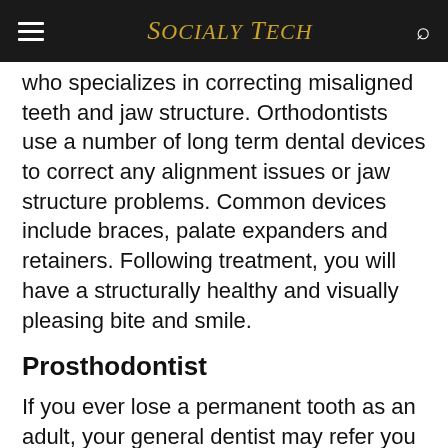Socialy Tech
who specializes in correcting misaligned teeth and jaw structure. Orthodontists use a number of long term dental devices to correct any alignment issues or jaw structure problems. Common devices include braces, palate expanders and retainers. Following treatment, you will have a structurally healthy and visually pleasing bite and smile.
Prosthodontist
If you ever lose a permanent tooth as an adult, your general dentist may refer you to a prosthodontist. A prosthodontist focuses on